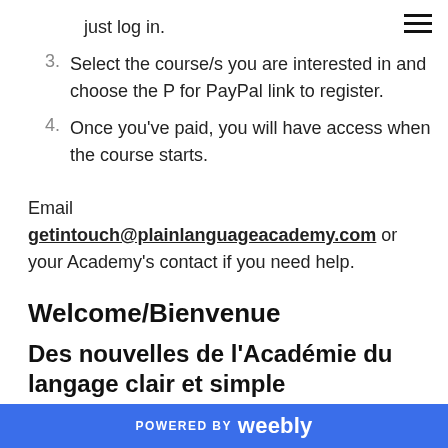just log in.
3. Select the course/s you are interested in and choose the P for PayPal link to register.
4. Once you've paid, you will have access when the course starts.
Email getintouch@plainlanguageacademy.com or your Academy's contact if you need help.
Welcome/Bienvenue
Des nouvelles de l'Académie du langage clair et simple
POWERED BY weebly